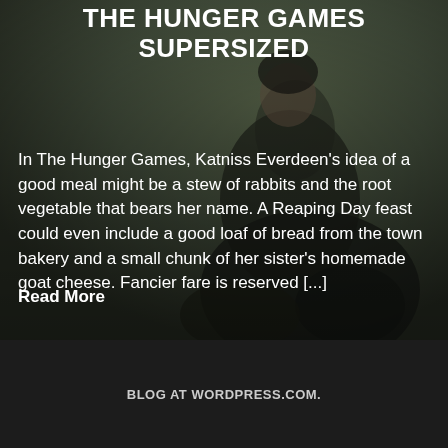[Figure (photo): Background photo of a person (Katniss Everdeen character) crouching in dark clothing against a muted green-grey outdoor background]
THE HUNGER GAMES SUPERSIZED
In The Hunger Games, Katniss Everdeen's idea of a good meal might be a stew of rabbits and the root vegetable that bears her name. A Reaping Day feast could even include a good loaf of bread from the town bakery and a small chunk of her sister's homemade goat cheese. Fancier fare is reserved [...]
Read More
BLOG AT WORDPRESS.COM.